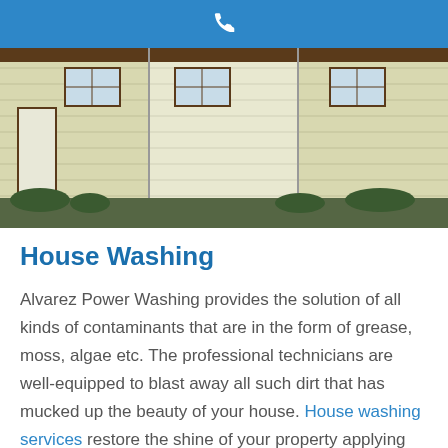[Figure (photo): Before and after photo of a house with light yellow vinyl siding, brown trim, and white door, showing house washing results in a three-panel comparison.]
House Washing
Alvarez Power Washing provides the solution of all kinds of contaminants that are in the form of grease, moss, algae etc. The professional technicians are well-equipped to blast away all such dirt that has mucked up the beauty of your house. House washing services restore the shine of your property applying the result-oriented techniques that bring the fruitful results to all your surfaces